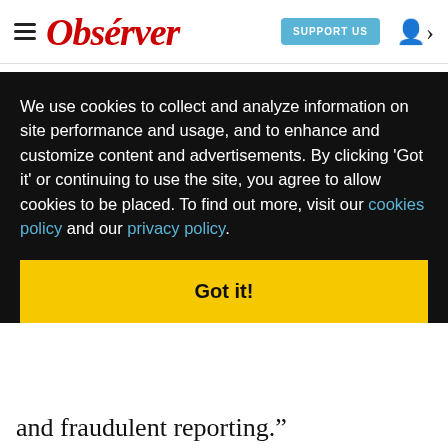Observer — SUPPORT US
on its "Wall of Shame," devoted to exposing phonies and braggarts who make false claims about their war experiences. The Web site
We use cookies to collect and analyze information on site performance and usage, and to enhance and customize content and advertisements. By clicking 'Got it' or continuing to use the site, you agree to allow cookies to be placed. To find out more, visit our cookies policy and our privacy policy.
Got it!
wall
d with
4187
y
e
tion
der
and fraudulent reporting."